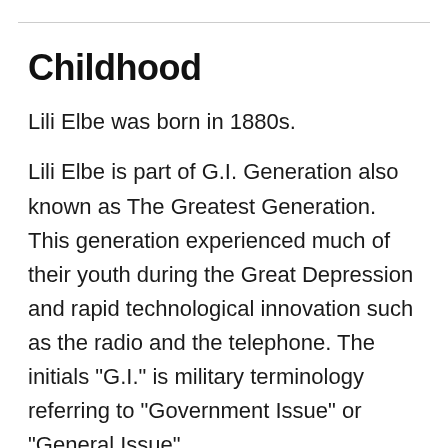Childhood
Lili Elbe was born in 1880s.
Lili Elbe is part of G.I. Generation also known as The Greatest Generation. This generation experienced much of their youth during the Great Depression and rapid technological innovation such as the radio and the telephone. The initials "G.I." is military terminology referring to "Government Issue" or "General Issue".